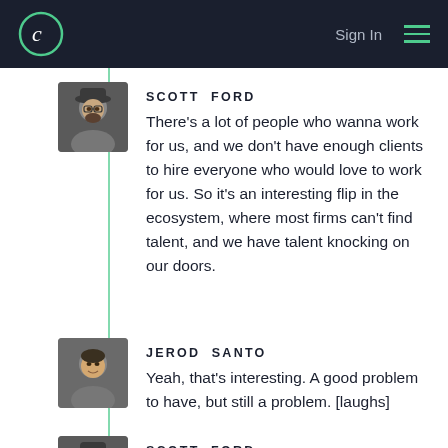Sign In
SCOTT FORD
There's a lot of people who wanna work for us, and we don't have enough clients to hire everyone who would love to work for us. So it's an interesting flip in the ecosystem, where most firms can't find talent, and we have talent knocking on our doors.
JEROD SANTO
Yeah, that's interesting. A good problem to have, but still a problem. [laughs]
SCOTT FORD
Yeah, exactly.